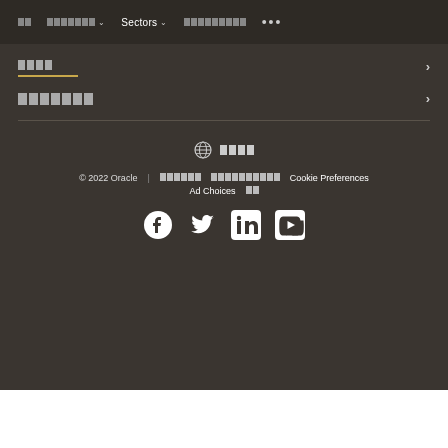Navigation bar with menu items: [blocks] [blocks] Sectors [blocks] ...
[blocks] [underline] >
[blocks] >
[globe] [blocks]
© 2022 Oracle | [blocks] [blocks] Cookie Preferences Ad Choices [blocks]
[Figure (other): Social media icons: Facebook, Twitter, LinkedIn, YouTube]